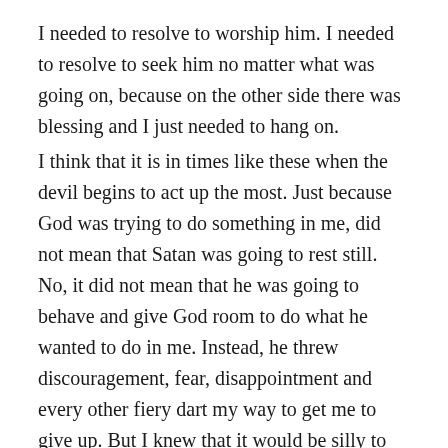I needed to resolve to worship him. I needed to resolve to seek him no matter what was going on, because on the other side there was blessing and I just needed to hang on. I think that it is in times like these when the devil begins to act up the most. Just because God was trying to do something in me, did not mean that Satan was going to rest still. No, it did not mean that he was going to behave and give God room to do what he wanted to do in me. Instead, he threw discouragement, fear, disappointment and every other fiery dart my way to get me to give up. But I knew that it would be silly to throw in the towel, because I also knew that God had brought me too far just to leave me hanging, if nothing else, His name was at stake. But it was more than his name, it